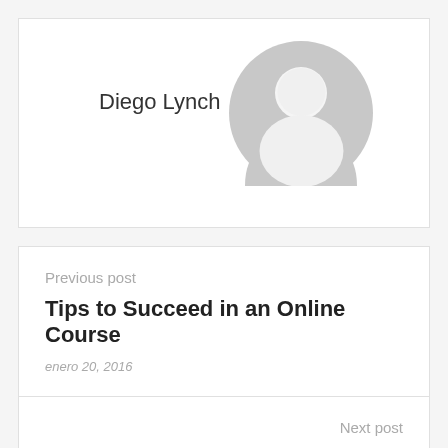Diego Lynch
[Figure (illustration): Default grey avatar/profile icon showing a silhouette of a person]
Previous post
Tips to Succeed in an Online Course
enero 20, 2016
Next post
Relaxing after work